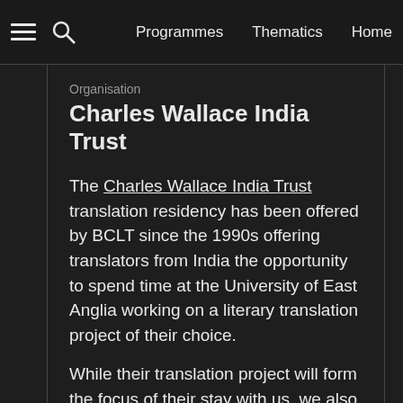Programmes   Thematics   Home
Organisation
Charles Wallace India Trust
The Charles Wallace India Trust translation residency has been offered by BCLT since the 1990s offering translators from India the opportunity to spend time at the University of East Anglia working on a literary translation project of their choice.
While their translation project will form the focus of their stay with us, we also encourage Fellows to engage in the academic, cultural